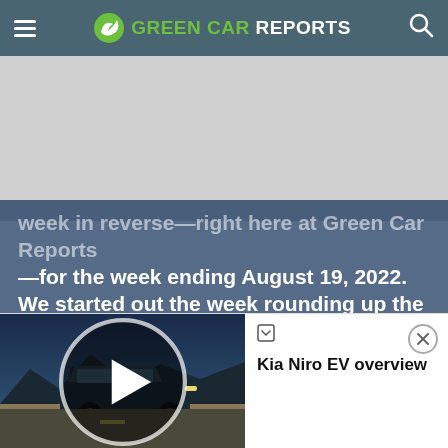GREEN CAR REPORTS
[Figure (screenshot): Gray advertisement/banner placeholder area]
week in reverse—right here at Green Car Reports—for the week ending August 19, 2022. We started out the week rounding up the cheapest EVs for 2023—all under $40,000, before counting any
[Figure (screenshot): Kia Niro EV video thumbnail with play button overlay showing car driving in desert landscape]
Kia Niro EV overview